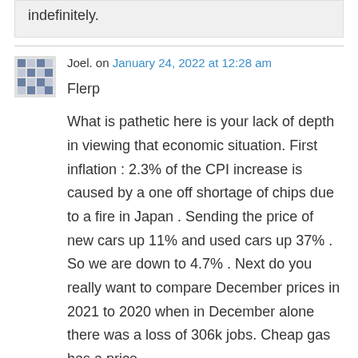indefinitely.
Joel. on January 24, 2022 at 12:28 am
Flerp

What is pathetic here is your lack of depth in viewing that economic situation. First inflation : 2.3% of the CPI increase is caused by a one off shortage of chips due to a fire in Japan . Sending the price of new cars up 11% and used cars up 37% . So we are down to 4.7% . Next do you really want to compare December prices in 2021 to 2020 when in December alone there was a loss of 306k jobs. Cheap gas has a price .